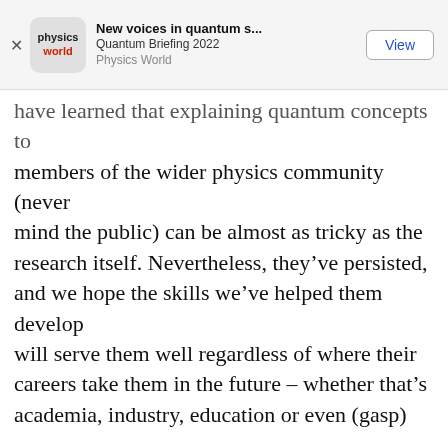New voices in quantum s... | Quantum Briefing 2022 | Physics World | View
have learned that explaining quantum concepts to members of the wider physics community (never mind the public) can be almost as tricky as the research itself. Nevertheless, they've persisted, and we hope the skills we've helped them develop will serve them well regardless of where their careers take them in the future – whether that's academia, industry, education or even (gasp) science communication.

In the meantime, please sit back and enjoy what they've written: there's plenty to learn and discover.